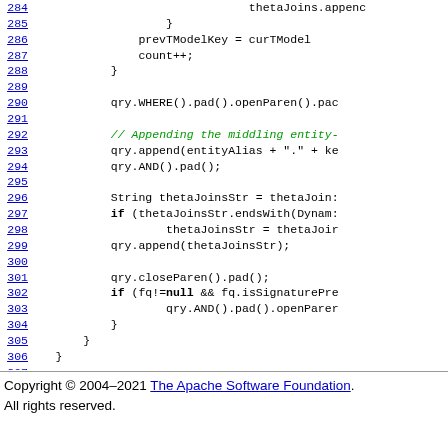[Figure (screenshot): Source code listing showing lines 284-308 of Java code with line numbers as hyperlinks on the left, code content on the right. Lines include thetaJoins.append, prevTModelKey, count++, closing braces, qry.WHERE().pad().openParen().pad(), comment about appending the middling entity, qry.append, qry.AND().pad(), String thetaJoinsStr, if statement with thetaJoinsStr.endsWith, thetaJoinsStr reassignment, qry.append(thetaJoinsStr), qry.closeParen().pad(), if (fq!=null && fq.isSignaturePre..., qry.AND().pad().openParen..., closing braces.]
Copyright © 2004–2021 The Apache Software Foundation. All rights reserved.